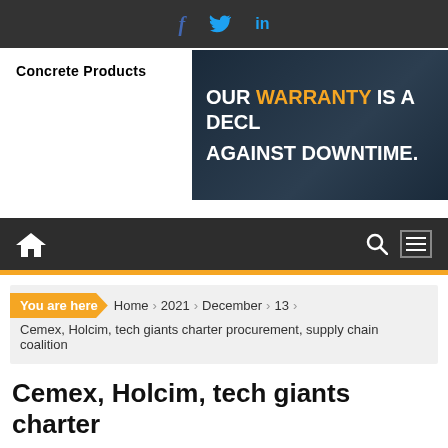f  t  in
[Figure (logo): Concrete Products logo text in bold black]
[Figure (infographic): Dark banner ad: OUR WARRANTY IS A DECL... AGAINST DOWNTIME.]
Home navigation bar with home icon, search icon, and menu icon
You are here › Home › 2021 › December › 13 › Cemex, Holcim, tech giants charter procurement, supply chain coalition
Cemex, Holcim, tech giants charter